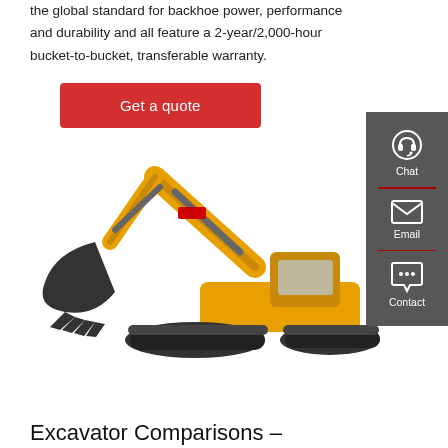the global standard for backhoe power, performance and durability and all feature a 2-year/2,000-hour bucket-to-bucket, transferable warranty.
Get a quote
[Figure (photo): Yellow crawler excavator with raised arm and bucket, shown in profile on white background]
[Figure (infographic): Dark grey sidebar with Chat, Email, and Contact icons/labels]
Excavator Comparisons –